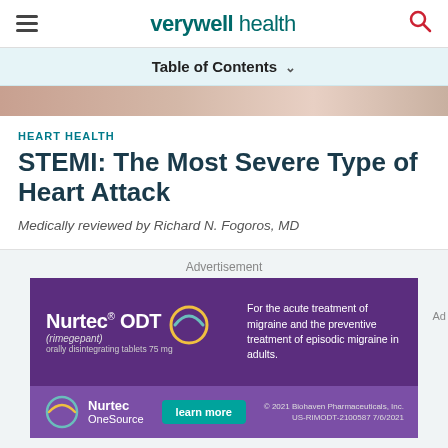verywell health
Table of Contents
[Figure (photo): Close-up photo strip of a person, cropped]
HEART HEALTH
STEMI: The Most Severe Type of Heart Attack
Medically reviewed by Richard N. Fogoros, MD
Advertisement
[Figure (other): Nurtec ODT (rimegepant) orally disintegrating tablets 75mg advertisement on purple background. Text: For the acute treatment of migraine and the preventive treatment of episodic migraine in adults.]
[Figure (other): Nurtec OneSource logo bar with learn more button. © 2021 Biohaven Pharmaceuticals, Inc. US-RIMODT-2100587 7/6/2021]